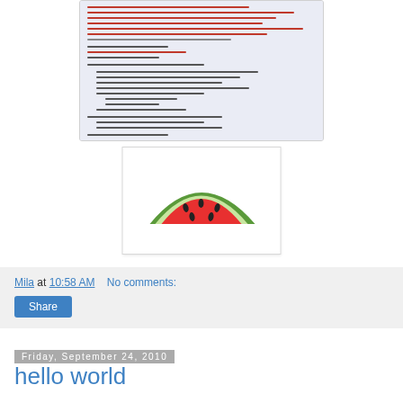[Figure (screenshot): Screenshot of a webpage showing source code or text content with red and black colored text on a light blue/white background]
[Figure (photo): Photo of a watermelon slice with red flesh and white/green rind on a white background]
Mila at 10:58 AM   No comments:
Share
Friday, September 24, 2010
hello world
The week has been busy and no new updates were done. I am planning to post some this weekend - mostly CVE-2010-2883 and older (i.e. no new cve at the moment). Have a